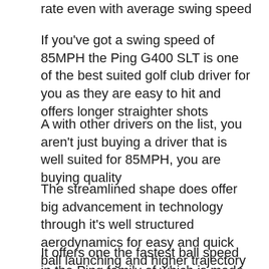rate even with average swing speed
If you've got a swing speed of 85MPH the Ping G400 SLT is one of the best suited golf club driver for you as they are easy to hit and offers longer straighter shots
A with other drivers on the list, you aren't just buying a driver that is well suited for 85MPH, you are buying quality
The streamlined shape does offer big advancement in technology through it's well structured aerodynamics for easy and quick ball launching and higher trajectory
It offers one the fastest ball speed in the Ping family of which is made possible through it's